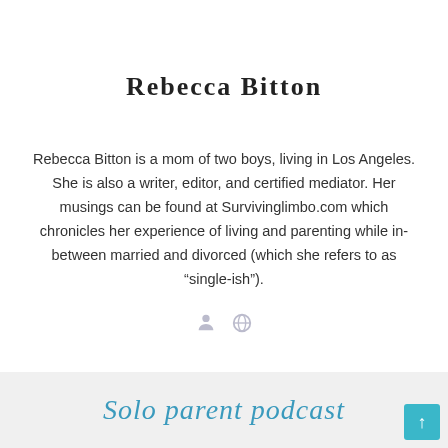Rebecca Bitton
Rebecca Bitton is a mom of two boys, living in Los Angeles. She is also a writer, editor, and certified mediator. Her musings can be found at Survivinglimbo.com which chronicles her experience of living and parenting while in-between married and divorced (which she refers to as “single-ish”).
[Figure (other): Two small grey social/profile icons (person icon and globe/web icon)]
RELATED ARTICLES
[Figure (other): Light grey card strip with handwritten-style blue cursive text reading 'Solo Parent Podcast' and a teal scroll-to-top arrow button in bottom right corner]